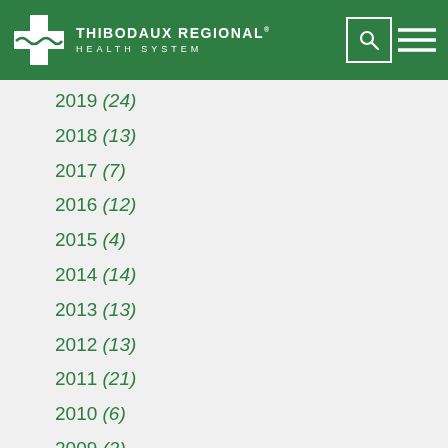Thibodaux Regional Health System
2019 (24)
2018 (13)
2017 (7)
2016 (12)
2015 (4)
2014 (14)
2013 (13)
2012 (13)
2011 (21)
2010 (6)
2009 (2)